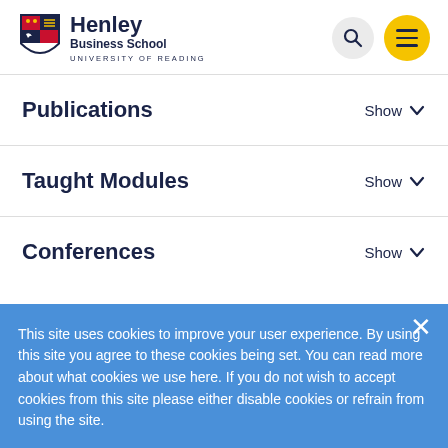Henley Business School — University of Reading
Publications — Show
Taught Modules — Show
Conferences — Show
This site uses cookies to improve your user experience. By using this site you agree to these cookies being set. You can read more about what cookies we use here. If you do not wish to accept cookies from this site please either disable cookies or refrain from using the site.